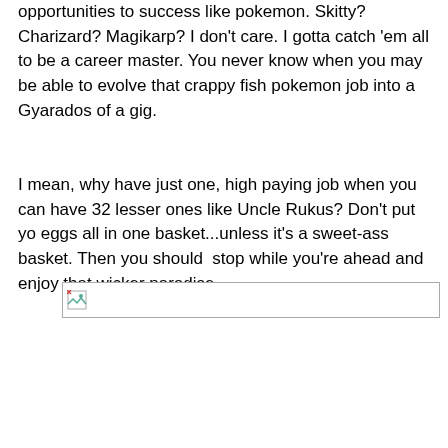opportunities to success like pokemon. Skitty? Charizard? Magikarp? I don't care. I gotta catch 'em all to be a career master. You never know when you may be able to evolve that crappy fish pokemon job into a Gyarados of a gig.
I mean, why have just one, high paying job when you can have 32 lesser ones like Uncle Rukus? Don't put yo eggs all in one basket...unless it's a sweet-ass basket. Then you should  stop while you're ahead and enjoy that wicker paradise.
[Figure (other): A broken/missing image placeholder rectangle with a small broken image icon in the top-left corner.]